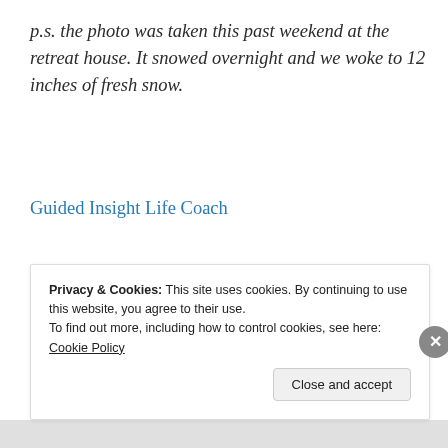p.s. the photo was taken this past weekend at the retreat house. It snowed overnight and we woke to 12 inches of fresh snow.
Guided Insight Life Coach
Related articles
Privacy & Cookies: This site uses cookies. By continuing to use this website, you agree to their use.
To find out more, including how to control cookies, see here: Cookie Policy
Close and accept